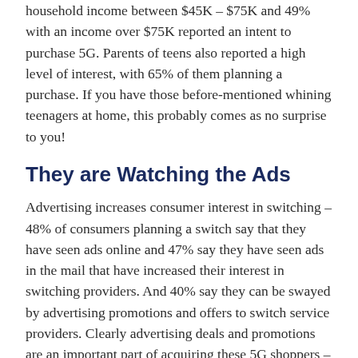household income between $45K – $75K and 49% with an income over $75K reported an intent to purchase 5G. Parents of teens also reported a high level of interest, with 65% of them planning a purchase. If you have those before-mentioned whining teenagers at home, this probably comes as no surprise to you!
They are Watching the Ads
Advertising increases consumer interest in switching – 48% of consumers planning a switch say that they have seen ads online and 47% say they have seen ads in the mail that have increased their interest in switching providers. And 40% say they can be swayed by advertising promotions and offers to switch service providers. Clearly advertising deals and promotions are an important part of acquiring these 5G shoppers – who doesn't love feeling like